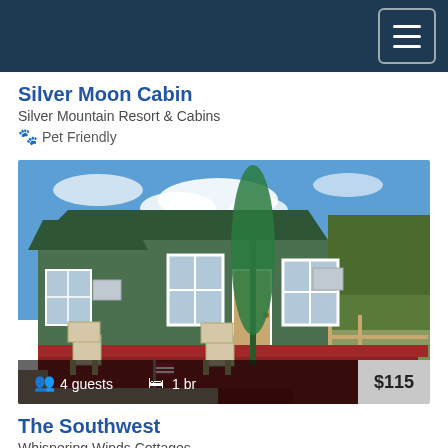Navigation header bar
Silver Moon Cabin
Silver Mountain Resort & Cabins
🐾 Pet Friendly
[Figure (photo): Exterior photo of a green cabin with a red wooden deck, outdoor chairs, a folded green patio umbrella, and pine trees in the background under a blue sky. Overlay bar shows 4 guests, 1 br, and $115.]
The Southwest
Whispering Winds Cottages